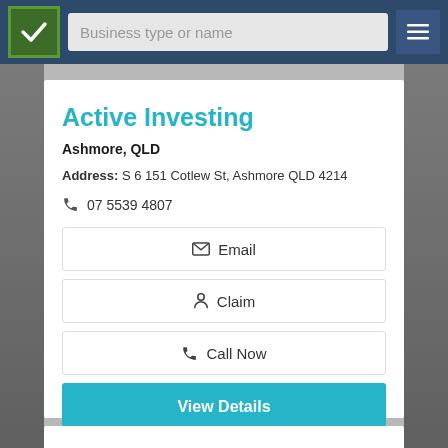Business type or name
Active Investing
Ashmore, QLD
Address: S 6 151 Cotlew St, Ashmore QLD 4214
07 5539 4807
Email
Claim
Call Now
View Details